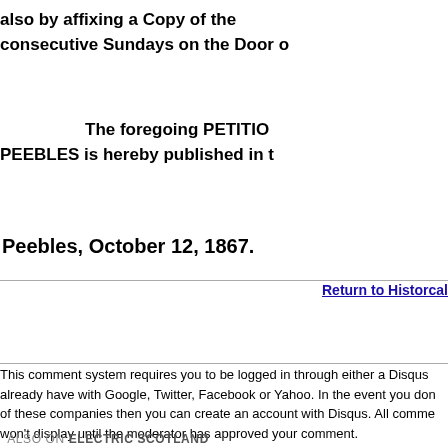also by affixing a Copy of the consecutive Sundays on the Door o
The foregoing PETITIO PEEBLES is hereby published in t
Peebles, October 12, 1867.
Return to Historcal
This comment system requires you to be logged in through either a Disqus already have with Google, Twitter, Facebook or Yahoo. In the event you don of these companies then you can create an account with Disqus. All comme won't display until the moderator has approved your comment.
ALSO ON ELECTRIC SCOTLAND